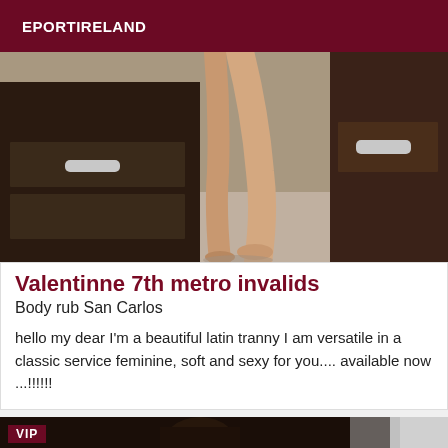EPORTIRELAND
[Figure (photo): Photo showing legs of a person standing in a room with dark wood furniture and drawers with silver handles]
Valentinne 7th metro invalids
Body rub San Carlos
hello my dear I'm a beautiful latin tranny I am versatile in a classic service feminine, soft and sexy for you.... available now ...!!!!!!
[Figure (photo): Dark photo with VIP badge in upper left corner]